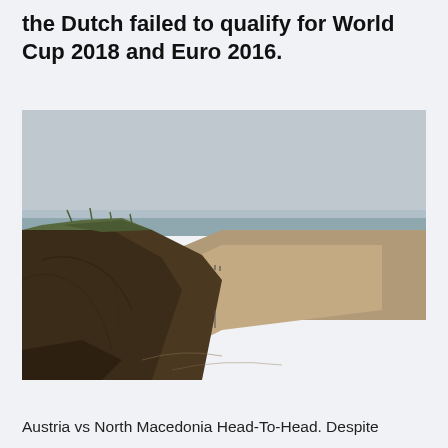the Dutch failed to qualify for World Cup 2018 and Euro 2016.
[Figure (photo): Coastal landscape showing sandy cliffs with grass vegetation on the left, a beach stretching into the distance, and ocean waves on the right under a grey overcast sky.]
Austria vs North Macedonia Head-To-Head. Despite